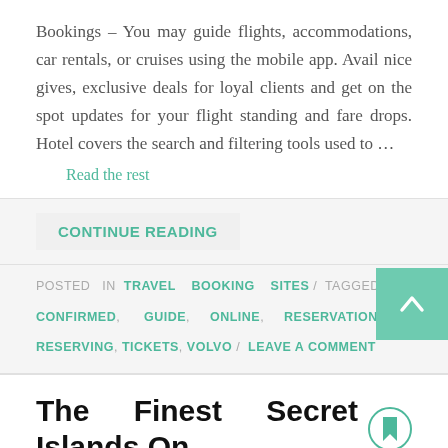Bookings – You may guide flights, accommodations, car rentals, or cruises using the mobile app. Avail nice gives, exclusive deals for loyal clients and get on the spot updates for your flight standing and fare drops. Hotel covers the search and filtering tools used to …
Read the rest
CONTINUE READING
POSTED IN TRAVEL BOOKING SITES / TAGGED CONFIRMED, GUIDE, ONLINE, RESERVATION, RESERVING, TICKETS, VOLVO / LEAVE A COMMENT
The Finest Secret Islands On